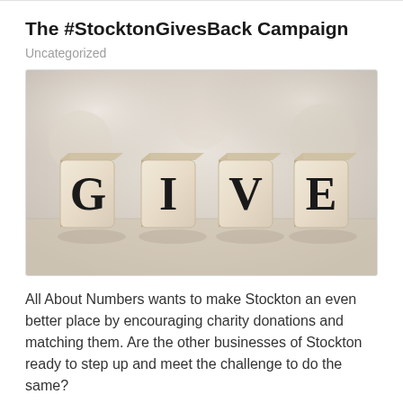The #StocktonGivesBack Campaign
Uncategorized
[Figure (photo): Four wooden letter dice spelling out the word GIVE on a light wooden surface with a soft blurred background.]
All About Numbers wants to make Stockton an even better place by encouraging charity donations and matching them. Are the other businesses of Stockton ready to step up and meet the challenge to do the same?